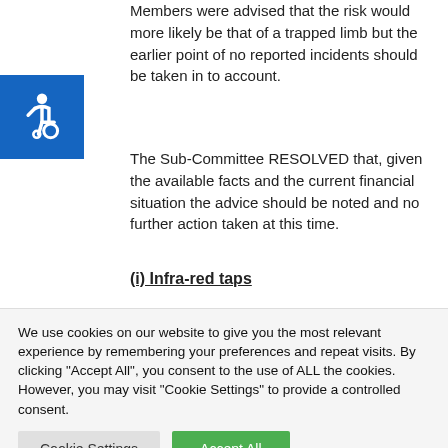[Figure (illustration): Blue square with white wheelchair accessibility icon (International Symbol of Access)]
Members were advised that the risk would more likely be that of a trapped limb but the earlier point of no reported incidents should be taken in to account.
The Sub-Committee RESOLVED that, given the available facts and the current financial situation the advice should be noted and no further action taken at this time.
(i) Infra-red taps
We use cookies on our website to give you the most relevant experience by remembering your preferences and repeat visits. By clicking "Accept All", you consent to the use of ALL the cookies. However, you may visit "Cookie Settings" to provide a controlled consent.